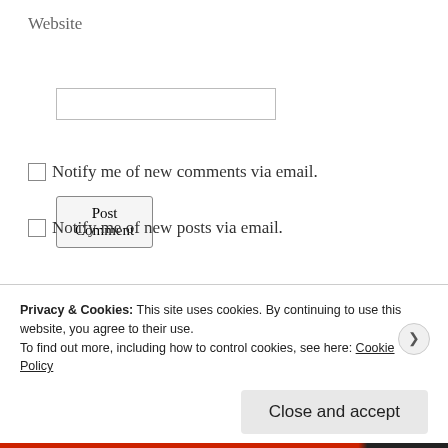Website
Post Comment
Notify me of new comments via email.
Notify me of new posts via email.
Search
Recent posts
Privacy & Cookies: This site uses cookies. By continuing to use this website, you agree to their use.
To find out more, including how to control cookies, see here: Cookie Policy
Close and accept